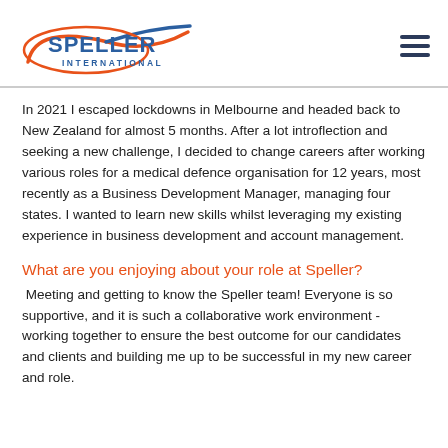[Figure (logo): Speller International logo with orange and blue swoosh graphic]
In 2021 I escaped lockdowns in Melbourne and headed back to New Zealand for almost 5 months. After a lot introflection and seeking a new challenge, I decided to change careers after working various roles for a medical defence organisation for 12 years, most recently as a Business Development Manager, managing four states. I wanted to learn new skills whilst leveraging my existing experience in business development and account management.
What are you enjoying about your role at Speller?
Meeting and getting to know the Speller team! Everyone is so supportive, and it is such a collaborative work environment - working together to ensure the best outcome for our candidates and clients and building me up to be successful in my new career and role.